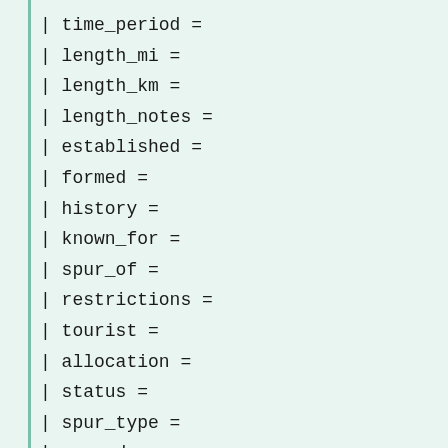| time_period =
| length_mi =
| length_km =
| length_notes =
| established =
| formed =
| history =
| known_for =
| spur_of =
| restrictions =
| tourist =
| allocation =
| status =
| spur_type =
| e-road =
| ahn =
| tahn =